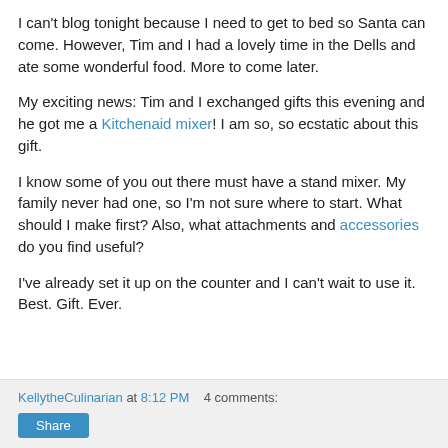I can't blog tonight because I need to get to bed so Santa can come. However, Tim and I had a lovely time in the Dells and ate some wonderful food. More to come later.
My exciting news: Tim and I exchanged gifts this evening and he got me a Kitchenaid mixer! I am so, so ecstatic about this gift.
I know some of you out there must have a stand mixer. My family never had one, so I'm not sure where to start. What should I make first? Also, what attachments and accessories do you find useful?
I've already set it up on the counter and I can't wait to use it. Best. Gift. Ever.
KellytheCulinarian at 8:12 PM   4 comments: